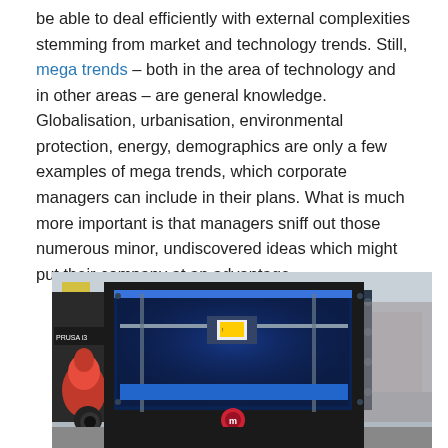be able to deal efficiently with external complexities stemming from market and technology trends. Still, mega trends – both in the area of technology and in other areas – are general knowledge. Globalisation, urbanisation, environmental protection, energy, demographics are only a few examples of mega trends, which corporate managers can include in their plans. What is much more important is that managers sniff out those numerous minor, undiscovered ideas which might put their company at an advantage.
[Figure (photo): Photo of a MakerBot 3D printer (Prusa i3 visible on left) with blue interior lighting, red 3D-printed object visible on the left side, and a Makerbot Replicator style printer in the center with a blue print bed and the Makerbot logo on front.]